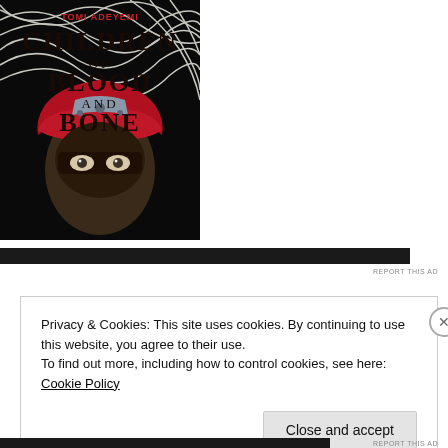[Figure (illustration): Book cover of 'Children of Blood and Bone' by Tomi Adeyemi. Shows a figure with white flowing hair and a red headband/hood, with dramatic black and white swirling patterns. Title text in large decorative letters.]
REPORT THIS AD
Privacy & Cookies: This site uses cookies. By continuing to use this website, you agree to their use.
To find out more, including how to control cookies, see here: Cookie Policy
Close and accept
REPORT THIS AD